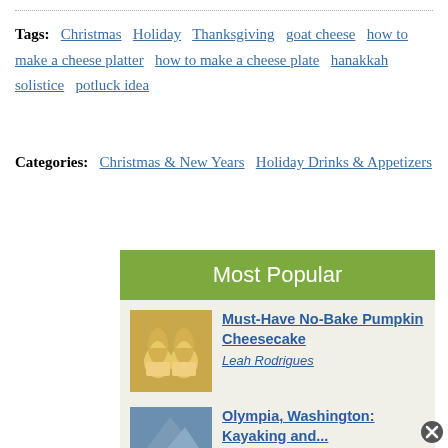Tags: Christmas Holiday Thanksgiving goat cheese how to make a cheese platter how to make a cheese plate hanakkah solistice potluck idea
Categories: Christmas & New Years Holiday Drinks & Appetizers
Most Popular
Must-Have No-Bake Pumpkin Cheesecake
Leah Rodrigues
Olympia, Washington: Kayaking and...
Michael and Eli...
35th Anniversary Winemaker